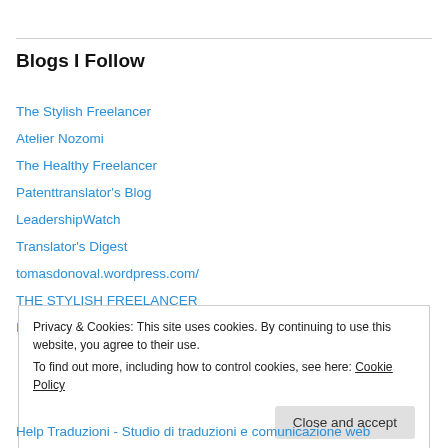Blogs I Follow
The Stylish Freelancer
Atelier Nozomi
The Healthy Freelancer
Patenttranslator's Blog
LeadershipWatch
Translator's Digest
tomasdonoval.wordpress.com/
THE STYLISH FREELANCER
Intérpretes y Traductores al desnudo – Interpreti e Traduttori allo
Privacy & Cookies: This site uses cookies. By continuing to use this website, you agree to their use. To find out more, including how to control cookies, see here: Cookie Policy
Help Traduzioni - Studio di traduzioni e comunicazione web